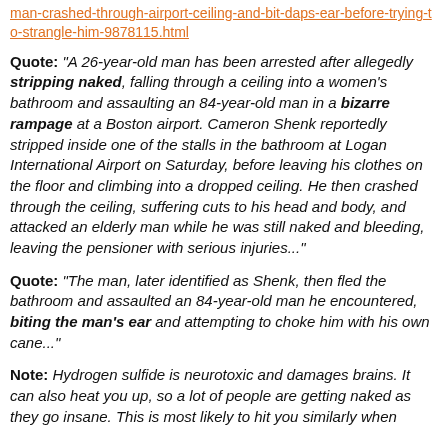man-crashed-through-airport-ceiling-and-bit-daps-ear-before-trying-to-strangle-him-9878115.html
Quote: "A 26-year-old man has been arrested after allegedly stripping naked, falling through a ceiling into a women's bathroom and assaulting an 84-year-old man in a bizarre rampage at a Boston airport. Cameron Shenk reportedly stripped inside one of the stalls in the bathroom at Logan International Airport on Saturday, before leaving his clothes on the floor and climbing into a dropped ceiling. He then crashed through the ceiling, suffering cuts to his head and body, and attacked an elderly man while he was still naked and bleeding, leaving the pensioner with serious injuries..."
Quote: "The man, later identified as Shenk, then fled the bathroom and assaulted an 84-year-old man he encountered, biting the man's ear and attempting to choke him with his own cane..."
Note: Hydrogen sulfide is neurotoxic and damages brains. It can also heat you up, so a lot of people are getting naked as they go insane. This is most likely to hit you similarly when